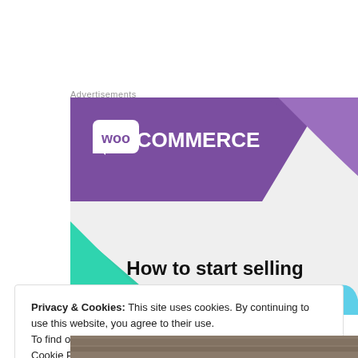Advertisements
[Figure (illustration): WooCommerce advertisement banner with purple and teal geometric shapes on gray background. Shows WooCommerce logo (white 'woo' in speech bubble + 'COMMERCE' text) and partial text 'How to start selling']
Privacy & Cookies: This site uses cookies. By continuing to use this website, you agree to their use.
To find out more, including how to control cookies, see here:
Cookie Policy
Close and accept
[Figure (photo): Partial photo of a landscape at the bottom of the page]